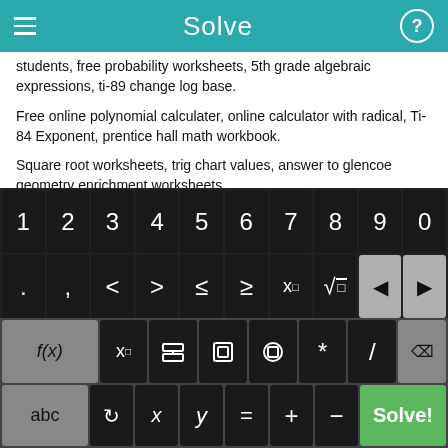Solve
students, free probability worksheets, 5th grade algebraic expressions, ti-89 change log base.
Free online polynomial calculater, online calculator with radical, Ti-84 Exponent, prentice hall math workbook.
Square root worksheets, trig chart values, answer to glencoe geometry enrichment worksheets.
Search Engine users came to this page today by entering
[Figure (screenshot): Calculator keyboard with rows of numeric keys (1-9, 0), math operator keys (., comma, <, >, ≤, ≥, x^□, √, backspace arrows), function keys (f(x), x□, fraction, absolute value, parentheses, *, /), and bottom row (abc, refresh, x, y, =, +, -, Solve! button in green)]